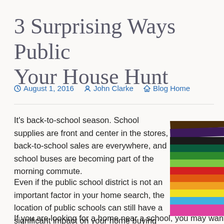3 Surprising Ways Public Your House Hunt
August 1, 2016   John Clarke   Blog Home
It's back-to-school season. School supplies are front and center in the stores, back-to-school sales are everywhere, and school buses are becoming part of the morning commute.
Even if the public school district is not an important factor in your home search, the location of public schools can still have a significant impact on your home buying decision.
If you are looking for a home near a school, you may want to take the
[Figure (photo): Colorful pencils/markers fanned out showing multiple bright colors including green, red, yellow, purple, orange, and others, photographed close-up from the side.]